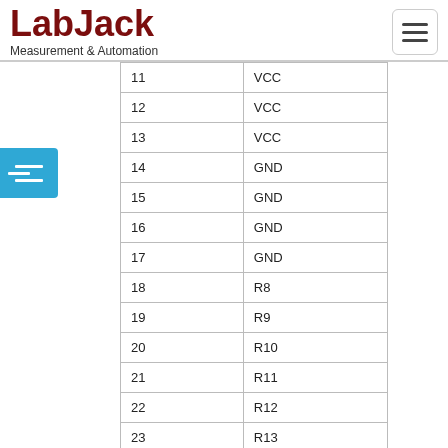LabJack Measurement & Automation
| 11 | VCC |
| 12 | VCC |
| 13 | VCC |
| 14 | GND |
| 15 | GND |
| 16 | GND |
| 17 | GND |
| 18 | R8 |
| 19 | R9 |
| 20 | R10 |
| 21 | R11 |
| 22 | R12 |
| 23 | R13 |
| 24 | R14 |
| 25 | R15 |
The complete schematic of the RB16 is shown on the next page. There are 3 resistors added on the last 3 I/O modules to terminate special I/O functions of the LabJack U12. These resistors will not normally affect the